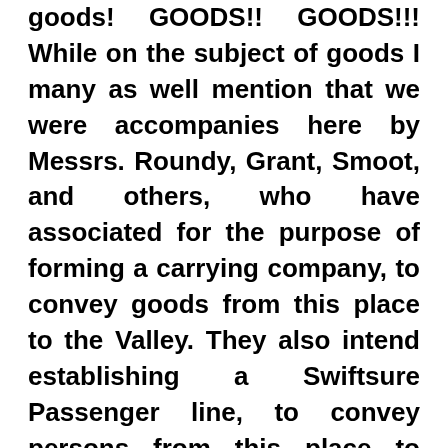goods! GOODS!! GOODS!!! While on the subject of goods I many as well mention that we were accompanies here by Messrs. Roundy, Grant, Smoot, and others, who have associated for the purpose of forming a carrying company, to convey goods from this place to the Valley. They also intend establishing a Swiftsure Passenger line, to convey persons from this place to Suters Fort. The company were selected and organized by the Government of the State of Deseret; part of their number are in the Valley, part of them here, and part of them are going to the Pacific coast. And as their location and knowledge of the route affords them a facility of obtaining horses, mules, &c., to recruit with-and as they are men of energy, enterprise and respectability, they are more competent to carry out an